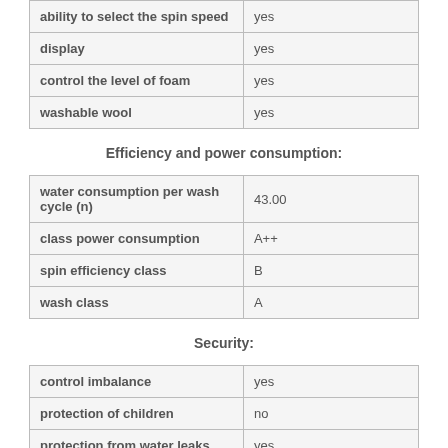| feature | value |
| --- | --- |
| ability to select the spin speed | yes |
| display | yes |
| control the level of foam | yes |
| washable wool | yes |
Efficiency and power consumption:
| feature | value |
| --- | --- |
| water consumption per wash cycle (n) | 43.00 |
| class power consumption | A++ |
| spin efficiency class | B |
| wash class | A |
Security:
| feature | value |
| --- | --- |
| control imbalance | yes |
| protection of children | no |
| protection from water leaks | yes |
| kind of protection from water leaks | partial (housing) |
You can buy Washing Machine AEG L 75270 FL in online stores
Catalog: Washing Machine